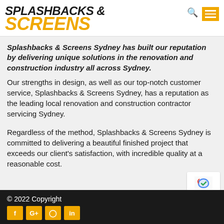SPLASHBACKS & SCREENS
Splashbacks & Screens Sydney has built our reputation by delivering unique solutions in the renovation and construction industry all across Sydney.
Our strengths in design, as well as our top-notch customer service, Splashbacks & Screens Sydney, has a reputation as the leading local renovation and construction contractor servicing Sydney.
Regardless of the method, Splashbacks & Screens Sydney is committed to delivering a beautiful finished project that exceeds our client's satisfaction, with incredible quality at a reasonable cost.
© 2022 Copyright